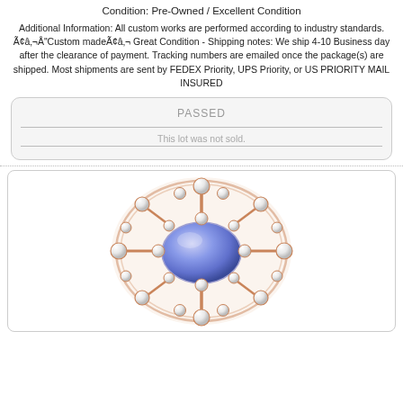Condition: Pre-Owned / Excellent Condition
Additional Information: All custom works are performed according to industry standards. Ã¢â‚¬Å"Custom madeÃ¢â‚¬ Great Condition - Shipping notes: We ship 4-10 Business day after the clearance of payment. Tracking numbers are emailed once the package(s) are shipped. Most shipments are sent by FEDEX Priority, UPS Priority, or US PRIORITY MAIL INSURED
PASSED
This lot was not sold.
[Figure (photo): Close-up photo of a rose gold ring featuring a large oval blue/purple tanzanite center stone surrounded by multiple halos of round diamonds in an ornate lattice setting.]